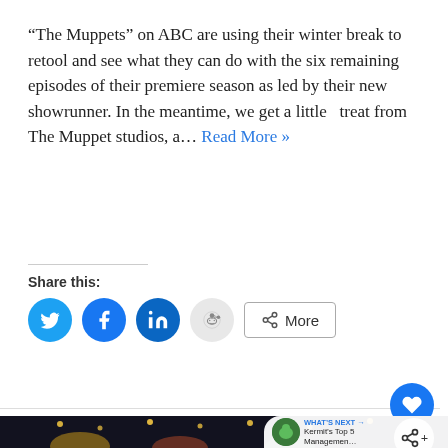“The Muppets” on ABC are using their winter break to retool and see what they can do with the six remaining episodes of their premiere season as led by their new showrunner. In the meantime, we get a little  treat from The Muppet studios, a… Read More »
Share this:
[Figure (screenshot): Social share icons: Twitter (blue circle), Facebook (blue circle), LinkedIn (blue circle), Reddit (light grey circle), and a More button with share icon]
[Figure (photo): Dark scene from The Muppets show with Muppet characters visible at the bottom against a dark background with string lights]